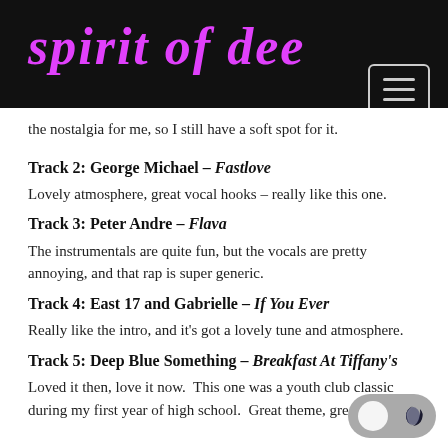spirit of dee
the nostalgia for me, so I still have a soft spot for it.
Track 2: George Michael – Fastlove
Lovely atmosphere, great vocal hooks – really like this one.
Track 3: Peter Andre – Flava
The instrumentals are quite fun, but the vocals are pretty annoying, and that rap is super generic.
Track 4: East 17 and Gabrielle – If You Ever
Really like the intro, and it's got a lovely tune and atmosphere.
Track 5: Deep Blue Something – Breakfast At Tiffany's
Loved it then, love it now.  This one was a youth club classic during my first year of high school.  Great theme, great lyrics